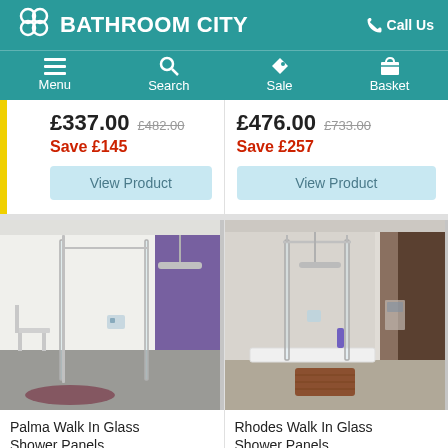BATHROOM CITY — Call Us
Menu | Search | Sale | Basket
£337.00  £482.00  Save £145
£476.00  £733.00  Save £257
[Figure (screenshot): View Product button for left product]
[Figure (screenshot): View Product button for right product]
[Figure (photo): Palma Walk In Glass Shower Panels product photo showing glass shower panel in modern bathroom with purple accent wall]
[Figure (photo): Rhodes Walk In Glass Shower Panels product photo showing glass shower enclosure with multiple panels in modern bathroom]
Palma Walk In Glass Shower Panels
Rhodes Walk In Glass Shower Panels